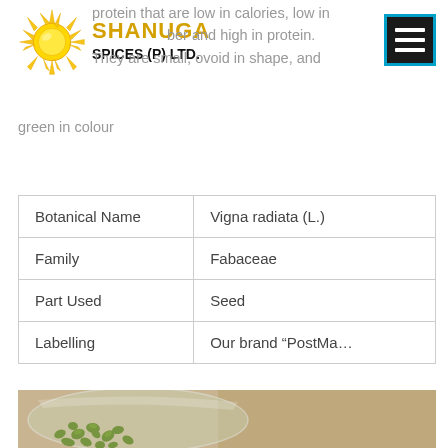SHANUGA SPICES (P) LTD.
protein that are low in calories, low in fiber and high in protein. They are small, ovoid in shape, and green in colour
| Botanical Name | Vigna radiata (L.) |
| Family | Fabaceae |
| Part Used | Seed |
| Labelling | Our brand “PostMa… |
[Figure (photo): Photo of green mung beans in a glass bowl on a beige background]